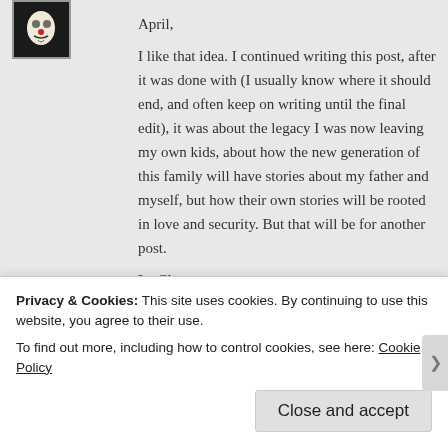April,

I like that idea. I continued writing this post, after it was done with (I usually know where it should end, and often keep on writing until the final edit), it was about the legacy I was now leaving my own kids, about how the new generation of this family will have stories about my father and myself, but how their own stories will be rooted in love and security. But that will be for another post.

Le Clown
traveling crone   November 7, 2013 at 2:58 pm
Privacy & Cookies: This site uses cookies. By continuing to use this website, you agree to their use.
To find out more, including how to control cookies, see here: Cookie Policy